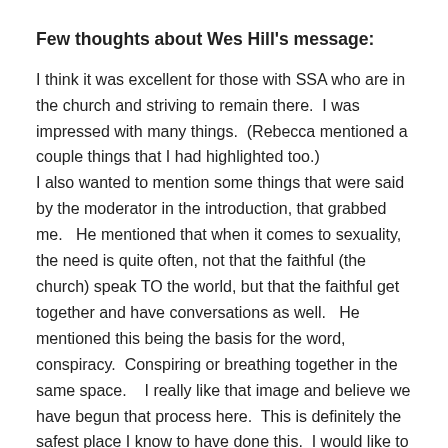Few thoughts about Wes Hill's message:
I think it was excellent for those with SSA who are in the church and striving to remain there.  I was impressed with many things.  (Rebecca mentioned a couple things that I had highlighted too.)
I also wanted to mention some things that were said by the moderator in the introduction, that grabbed me.   He mentioned that when it comes to sexuality, the need is quite often, not that the faithful (the church) speak TO the world, but that the faithful get together and have conversations as well.   He mentioned this being the basis for the word, conspiracy.  Conspiring or breathing together in the same space.    I really like that image and believe we have begun that process here.  This is definitely the safest place I know to have done this.  I would like to say I could